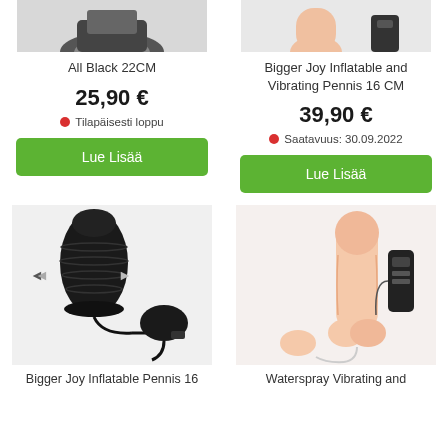[Figure (photo): Top portion of product image for All Black 22CM (partially cropped at top)]
All Black 22CM
25,90 €
● Tilapäisesti loppu
Lue Lisää
[Figure (photo): Top portion of product image for Bigger Joy Inflatable and Vibrating Pennis 16 CM (partially cropped at top)]
Bigger Joy Inflatable and Vibrating Pennis 16 CM
39,90 €
● Saatavuus: 30.09.2022
Lue Lisää
[Figure (photo): Product image of Bigger Joy Inflatable Pennis 16 - black inflatable toy with pump bulb]
Bigger Joy Inflatable Pennis 16
[Figure (photo): Product image of Waterspray Vibrating and realistic dildo with controller]
Waterspray Vibrating and